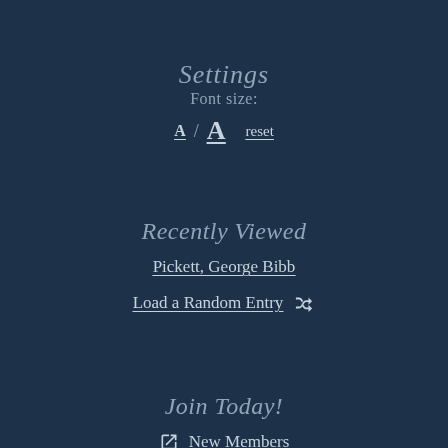Settings
Font size:
A / A  reset
Recently Viewed
Pickett, George Bibb
Load a Random Entry
Join Today!
New Members